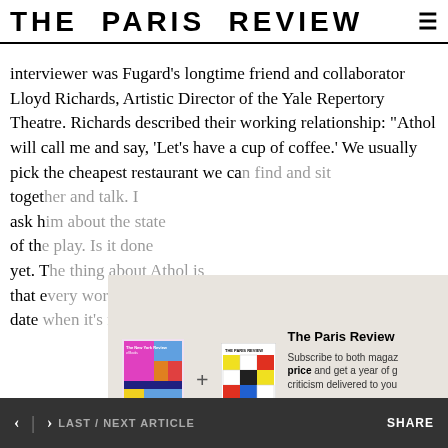THE PARIS REVIEW
interviewer was Fugard’s longtime friend and collaborator Lloyd Richards, Artistic Director of the Yale Repertory Theatre. Richards described their working relationship: “Athol will call me and say, ‘Let’s have a cup of coffee.’ We usually pick the cheapest restaurant we ca[n find...] toget[her...] ask h[im...] of th[e...] yet. T[...] that e[...] date [...]
[Figure (other): Subscription advertisement overlay showing New York Review and The Paris Review magazine covers with a plus sign between them, text reading 'The Paris Review', 'Subscribe to both magazines at a special price and get a year of great criticism delivered to your...', and a blue 'Subscribe No[w]' button]
INTERVIEWER
< | > LAST / NEXT ARTICLE    SHARE